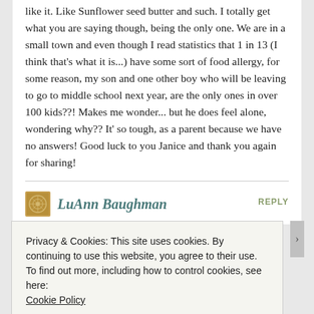like it. Like Sunflower seed butter and such. I totally get what you are saying though, being the only one. We are in a small town and even though I read statistics that 1 in 13 (I think that's what it is...) have some sort of food allergy, for some reason, my son and one other boy who will be leaving to go to middle school next year, are the only ones in over 100 kids??! Makes me wonder... but he does feel alone, wondering why?? It' so tough, as a parent because we have no answers! Good luck to you Janice and thank you again for sharing!
LuAnn Baughman
APRIL 11, 2015 AT 10:21 PM
REPLY
Privacy & Cookies: This site uses cookies. By continuing to use this website, you agree to their use.
To find out more, including how to control cookies, see here: Cookie Policy
Close and accept